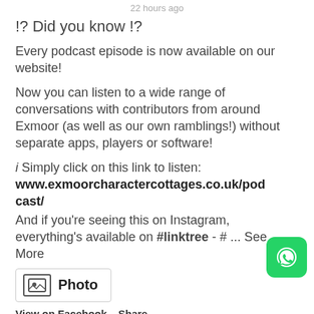22 hours ago
!? Did you know !?
Every podcast episode is now available on our website!
Now you can listen to a wide range of conversations with contributors from around Exmoor (as well as our own ramblings!) without separate apps, players or software!
i Simply click on this link to listen: www.exmoorcharactercottages.co.uk/podcast/
And if you're seeing this on Instagram, everything's available on #linktree - # ... See More
[Figure (other): Photo attachment button with image icon and label 'Photo']
View on Facebook · Share